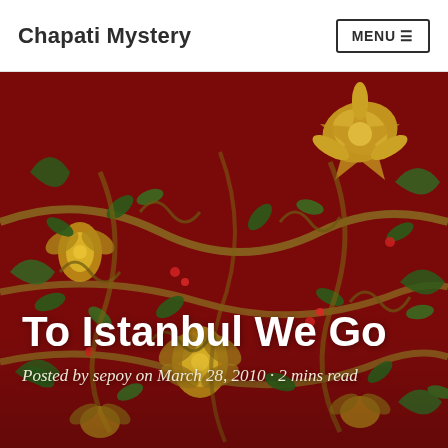Chapati Mystery
[Figure (photo): Dark red background with ornate floral and leaf pattern in gold and green tones, resembling a decorative textile or carpet]
To Istanbul We Go
Posted by sepoy on March 28, 2010 · 2 mins read